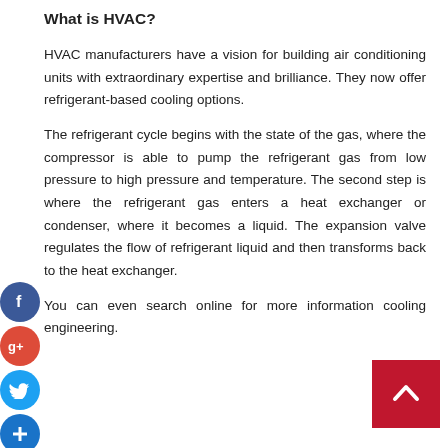What is HVAC?
HVAC manufacturers have a vision for building air conditioning units with extraordinary expertise and brilliance. They now offer refrigerant-based cooling options.
The refrigerant cycle begins with the state of the gas, where the compressor is able to pump the refrigerant gas from low pressure to high pressure and temperature. The second step is where the refrigerant gas enters a heat exchanger or condenser, where it becomes a liquid. The expansion valve regulates the flow of refrigerant liquid and then transforms back to the heat exchanger.
You can even search online for more information cooling engineering.
[Figure (infographic): Social media icons: Facebook (blue circle with f), Google+ (red circle with g+), Twitter (light blue circle with bird), and Add/Plus (dark blue circle with +) stacked vertically on the left side of the page.]
[Figure (other): Back to top button: dark red/crimson square with white upward-pointing chevron arrow in the bottom right corner.]